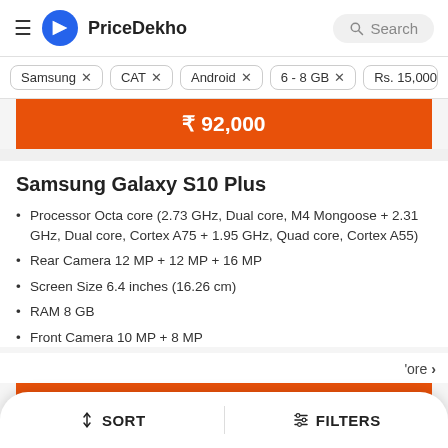PriceDekho — Search
Samsung ×
CAT ×
Android ×
6 - 8 GB ×
Rs. 15,000 - Rs...
₹ 92,000
Samsung Galaxy S10 Plus
Processor Octa core (2.73 GHz, Dual core, M4 Mongoose + 2.31 GHz, Dual core, Cortex A75 + 1.95 GHz, Quad core, Cortex A55)
Rear Camera 12 MP + 12 MP + 16 MP
Screen Size 6.4 inches (16.26 cm)
RAM 8 GB
Front Camera 10 MP + 8 MP
more >
↕ SORT   | ⫶ FILTERS
₹ 59,900